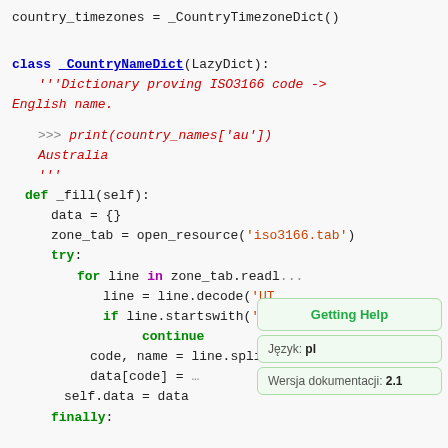[Figure (screenshot): Python source code screenshot showing _CountryNameDict class definition with docstring, _fill method, and tooltip overlays for 'Getting Help', 'Język: pl', and 'Wersja dokumentacji: 2.1']